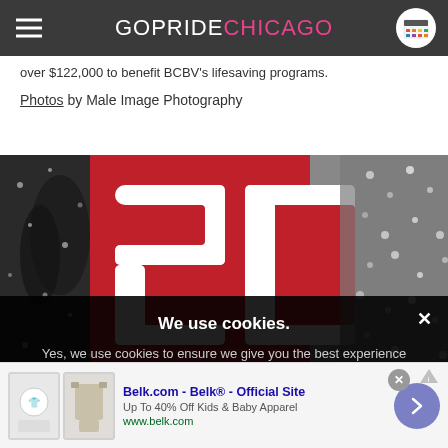GOPRIDE CHICAGO
over $122,000 to benefit BCBV's lifesaving programs.
Photos by Male Image Photography
[Figure (photo): Close-up photo of a sparkly costume or decoration with the number 20 visible in large white letters outlined in red, with rhinestones or glitter surrounding it.]
We use cookies.
Yes, we use cookies to ensure we give you the best experience using this website.
By closing this box or clicking on the continue button, you agree to our terms of use and consent to the use of
Belk.com - Belk® - Official Site
Up To 40% Off Kids & Baby Apparel
www.belk.com